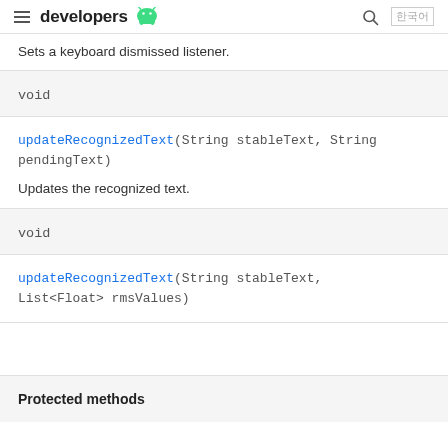developers
Sets a keyboard dismissed listener.
void
updateRecognizedText(String stableText, String pendingText)
Updates the recognized text.
void
updateRecognizedText(String stableText, List<Float> rmsValues)
Protected methods